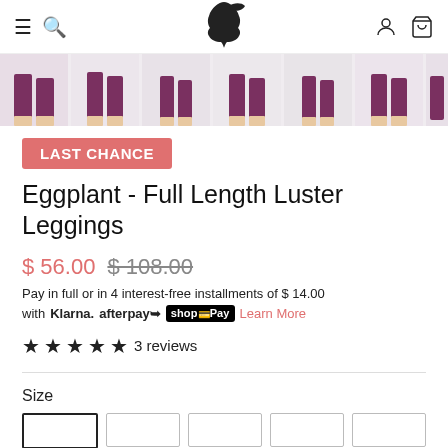[Figure (screenshot): E-commerce product page navigation bar with hamburger menu, search icon, bird logo, account icon, and cart icon]
[Figure (photo): Thumbnail strip showing 6+ images of a person wearing eggplant/purple leggings, cropped to show legs and feet]
LAST CHANCE
Eggplant - Full Length Luster Leggings
$ 56.00  $108.00
Pay in full or in 4 interest-free installments of $ 14.00 with Klarna. afterpay Shop Pay Learn More
★★★★★ 3 reviews
Size